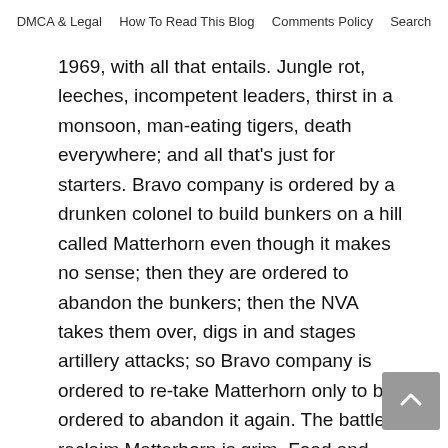DMCA & Legal   How To Read This Blog   Comments Policy   Search
1969, with all that entails. Jungle rot, leeches, incompetent leaders, thirst in a monsoon, man-eating tigers, death everywhere; and all that's just for starters. Bravo company is ordered by a drunken colonel to build bunkers on a hill called Matterhorn even though it makes no sense; then they are ordered to abandon the bunkers; then the NVA takes them over, digs in and stages artillery attacks; so Bravo company is ordered to re-take Matterhorn only to be ordered to abandon it again. The battle to reclaim Matterhorn is grim. Food and water, ammo and medical supplies can't get to Bravo company because the weather is socked in and choppers can't fly. At one point each